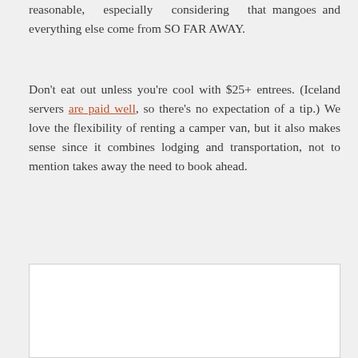reasonable, especially considering that mangoes and everything else come from SO FAR AWAY.
Don't eat out unless you're cool with $25+ entrees. (Iceland servers are paid well, so there's no expectation of a tip.) We love the flexibility of renting a camper van, but it also makes sense since it combines lodging and transportation, not to mention takes away the need to book ahead.
[Figure (photo): White rectangular image placeholder box]